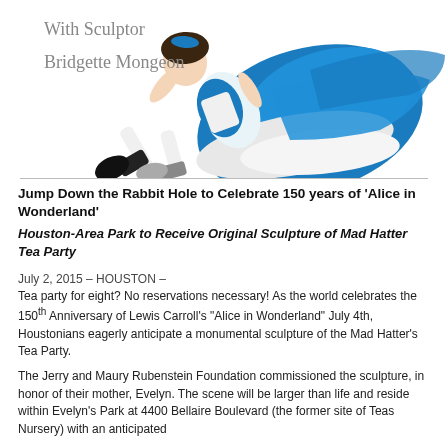[Figure (photo): Person dressed as Alice in Wonderland in a blue dress and white apron, in a falling/jumping pose against a white background. Text overlay reads 'With Sculptor Bridgette Mongeon'.]
Jump Down the Rabbit Hole to Celebrate 150 years of 'Alice in Wonderland'
Houston-Area Park to Receive Original Sculpture of Mad Hatter Tea Party
July 2, 2015 – HOUSTON – Tea party for eight? No reservations necessary! As the world celebrates the 150th Anniversary of Lewis Carroll's "Alice in Wonderland" July 4th, Houstonians eagerly anticipate a monumental sculpture of the Mad Hatter's Tea Party.
The Jerry and Maury Rubenstein Foundation commissioned the sculpture, in honor of their mother, Evelyn. The scene will be larger than life and reside within Evelyn's Park at 4400 Bellaire Boulevard (the former site of Teas Nursery) with an anticipated